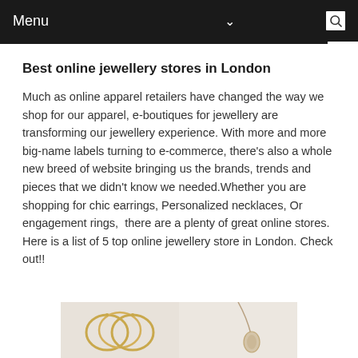Menu
Best online jewellery stores in London
Much as online apparel retailers have changed the way we shop for our apparel, e-boutiques for jewellery are transforming our jewellery experience. With more and more big-name labels turning to e-commerce, there's also a whole new breed of website bringing us the brands, trends and pieces that we didn't know we needed.Whether you are shopping for chic earrings, Personalized necklaces, Or engagement rings,  there are a plenty of great online stores. Here is a list of 5 top online jewellery store in London. Check out!!
[Figure (photo): Two product images side by side: left shows gold hoop earrings on light background, right shows a pendant necklace on light background]